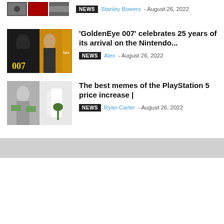[Figure (photo): Three small thumbnail images in a row]
NEWS  Stanley Bowers - August 26, 2022
[Figure (photo): GoldenEye 007 Nintendo 64 game cover art]
'GoldenEye 007' celebrates 25 years of its arrival on the Nintendo...
NEWS  Alex - August 26, 2022
[Figure (photo): Two photos: person with money and PlayStation 5 console]
The best memes of the PlayStation 5 price increase |
NEWS  Ryan Carter - August 26, 2022